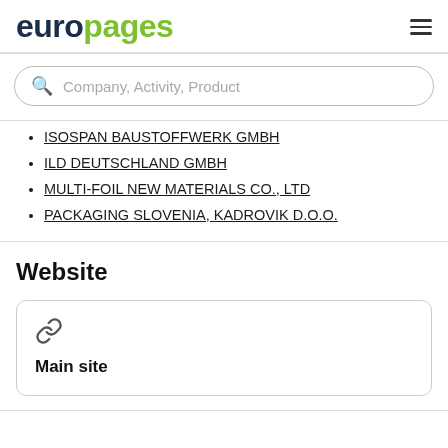europages
Company, Activity, Product
ISOSPAN BAUSTOFFWERK GMBH
ILD DEUTSCHLAND GMBH
MULTI-FOIL NEW MATERIALS CO., LTD
PACKAGING SLOVENIA, KADROVIK D.O.O.
Website
Main site